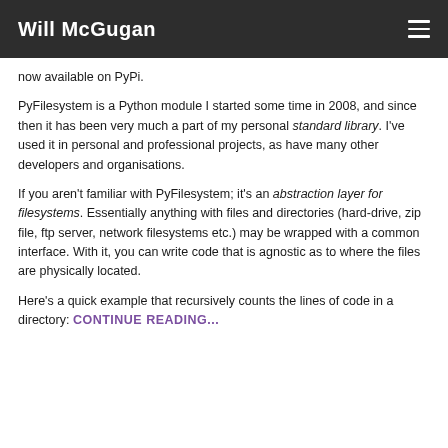Will McGugan
now available on PyPi.
PyFilesystem is a Python module I started some time in 2008, and since then it has been very much a part of my personal standard library. I've used it in personal and professional projects, as have many other developers and organisations.
If you aren't familiar with PyFilesystem; it's an abstraction layer for filesystems. Essentially anything with files and directories (hard-drive, zip file, ftp server, network filesystems etc.) may be wrapped with a common interface. With it, you can write code that is agnostic as to where the files are physically located.
Here's a quick example that recursively counts the lines of code in a directory: CONTINUE READING...